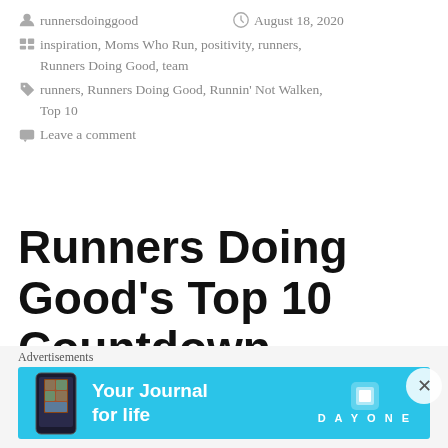runnersdoinggood   August 18, 2020
inspiration, Moms Who Run, positivity, runners, Runners Doing Good, team
runners, Runners Doing Good, Runnin' Not Walken, Top 10
Leave a comment
Runners Doing Good's Top 10 Countdown
[Figure (photo): Partial image of running gear/medals on sandy ground]
Advertisements
[Figure (infographic): Day One app advertisement banner: 'Your Journal for life' with phone illustration and Day One logo on cyan/blue background]